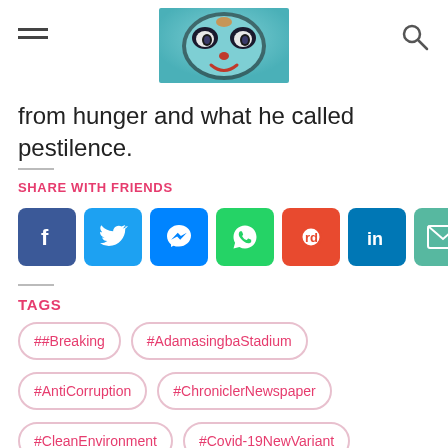from hunger and what he called pestilence.
SHARE WITH FRIENDS
[Figure (infographic): Social sharing buttons: Facebook, Twitter, Messenger, WhatsApp, Reddit, LinkedIn, Email]
TAGS
##Breaking
#AdamasingbaStadium
#AntiCorruption
#ChroniclerNewspaper
#CleanEnvironment
#Covid-19NewVariant
#FeedbackOyoState
#GoodGovernance